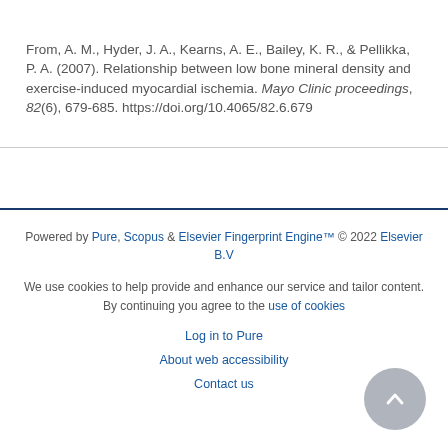From, A. M., Hyder, J. A., Kearns, A. E., Bailey, K. R., & Pellikka, P. A. (2007). Relationship between low bone mineral density and exercise-induced myocardial ischemia. Mayo Clinic proceedings, 82(6), 679-685. https://doi.org/10.4065/82.6.679
Powered by Pure, Scopus & Elsevier Fingerprint Engine™ © 2022 Elsevier B.V
We use cookies to help provide and enhance our service and tailor content. By continuing you agree to the use of cookies
Log in to Pure
About web accessibility
Contact us